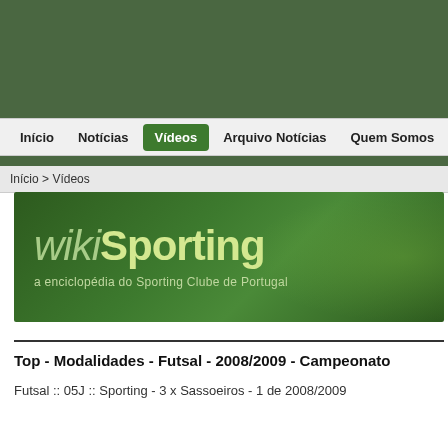[Figure (screenshot): Top green navigation banner with dark olive green background]
Início  Notícias  Vídeos  Arquivo Notícias  Quem Somos
Início > Vídeos
[Figure (logo): wikiSporting logo — a enciclopédia do Sporting Clube de Portugal — on dark green background]
Top - Modalidades - Futsal - 2008/2009 - Campeonato
Futsal :: 05J :: Sporting - 3 x Sassoeiros - 1 de 2008/2009